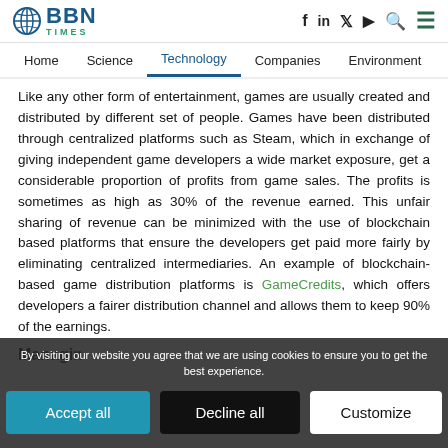BBN TIMES
Home  Science  Technology  Companies  Environment
Like any other form of entertainment, games are usually created and distributed by different set of people. Games have been distributed through centralized platforms such as Steam, which in exchange of giving independent game developers a wide market exposure, get a considerable proportion of profits from game sales. The profits is sometimes as high as 30% of the revenue earned. This unfair sharing of revenue can be minimized with the use of blockchain based platforms that ensure the developers get paid more fairly by eliminating centralized intermediaries. An example of blockchain-based game distribution platforms is GameCredits, which offers developers a fairer distribution channel and allows them to keep 90% of the earnings.
Managing
By visiting our website you agree that we are using cookies to ensure you to get the best experience.